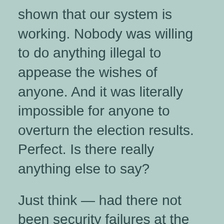shown that our system is working. Nobody was willing to do anything illegal to appease the wishes of anyone. And it was literally impossible for anyone to overturn the election results. Perfect. Is there really anything else to say?
Just think — had there not been security failures at the entrances of the Capitol what would these folks actually be talking about? Nothing.
Once again, who was responsible for protecting the Capitol and who was